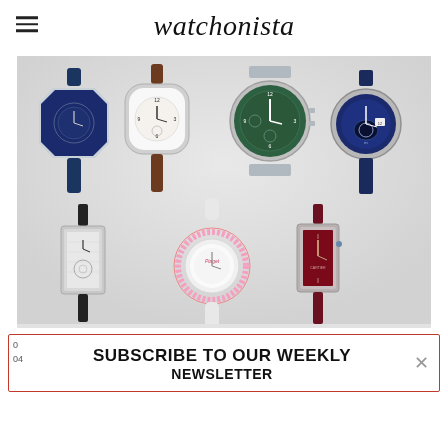watchonista
[Figure (photo): Collection of seven luxury watches arranged on a light grey background: top row features a Bulgari Octo with blue dial and blue alligator strap, a vintage-style cushion-shaped watch with white dial and brown leather strap, an IWC Pilot chronograph with green dial on steel bracelet, and a Maurice Lacroix Aikon chronograph with blue dial; bottom row features a rectangular Jaeger-LeCoultre Reverso with black strap, a Piaget lozenge-shaped watch with pink gem-set bezel and white strap, and a rectangular Cartier tank-style watch with burgundy dial and burgundy strap.]
SUBSCRIBE TO OUR WEEKLY NEWSLETTER